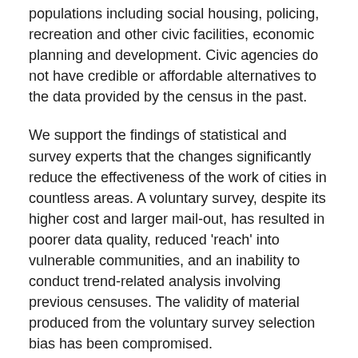populations including social housing, policing, recreation and other civic facilities, economic planning and development. Civic agencies do not have credible or affordable alternatives to the data provided by the census in the past.
We support the findings of statistical and survey experts that the changes significantly reduce the effectiveness of the work of cities in countless areas. A voluntary survey, despite its higher cost and larger mail-out, has resulted in poorer data quality, reduced 'reach' into vulnerable communities, and an inability to conduct trend-related analysis involving previous censuses. The validity of material produced from the voluntary survey selection bias has been compromised.
This change significantly affects all